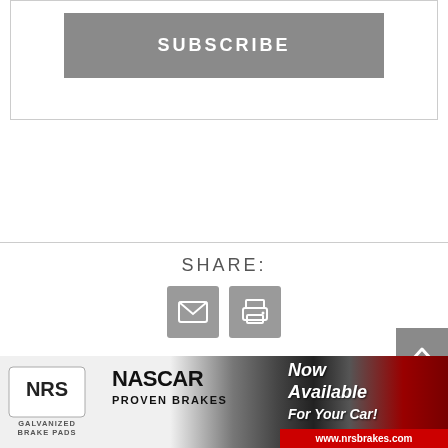[Figure (screenshot): Subscribe button — gray rectangle with white bold uppercase text 'SUBSCRIBE' inside a bordered box]
SHARE:
[Figure (screenshot): Two gray icon buttons: email/envelope icon and print icon]
[Figure (screenshot): Back-to-top arrow button, dark gray, chevron pointing up]
[Figure (screenshot): Navigation buttons: '< PREVIOUS' on left and 'NEXT >' on right]
[Figure (screenshot): NRS Galvanized Brake Pads advertisement banner — NASCAR Proven Brakes, Now Available For Your Car!, www.nrsbrakes.com]